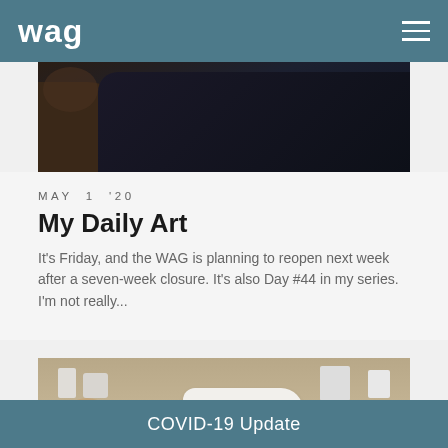wag
[Figure (photo): Partial photo showing a person in a dark sweater, cropped — top portion of a blog post image]
MAY 1 '20
My Daily Art
It's Friday, and the WAG is planning to reopen next week after a seven-week closure. It's also Day #44 in my series. I'm not really...
[Figure (photo): Two men seated on either side of a white architectural scale model on a wooden table, in what appears to be an architecture studio with shelves and models in the background]
COVID-19 Update